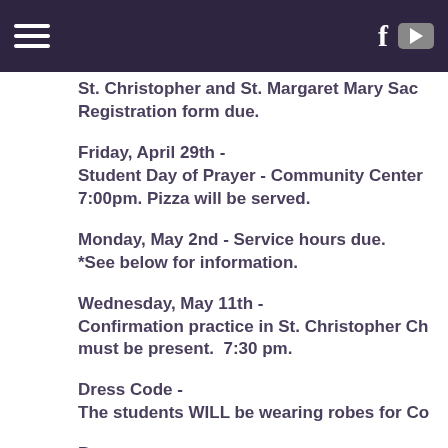Navigation bar with hamburger menu, Facebook and YouTube icons
St. Christopher and St. Margaret Mary Sac Registration form due.
Friday, April 29th - Student Day of Prayer - Community Center 7:00pm. Pizza will be served.
Monday, May 2nd - Service hours due. *See below for information.
Wednesday, May 11th - Confirmation practice in St. Christopher Ch must be present.  7:30 pm.
Dress Code - The students WILL be wearing robes for Co
Boys -